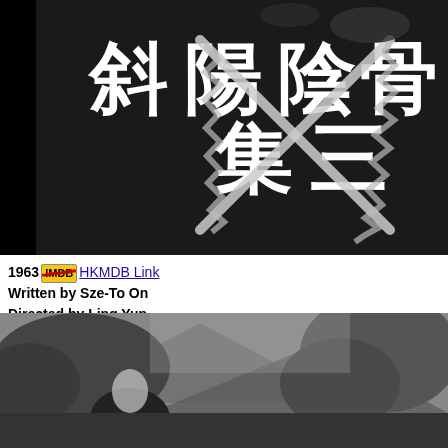[Figure (photo): Black and white film title card showing Chinese characters on a dark background with crossed swords/blades overlay]
1963 [HKMDB badge] HKMDB Link
Written by Sze-To On
Directed by Ling Yun
[Figure (photo): Black and white film still showing a woman looking up surrounded by trees and mountains in background]